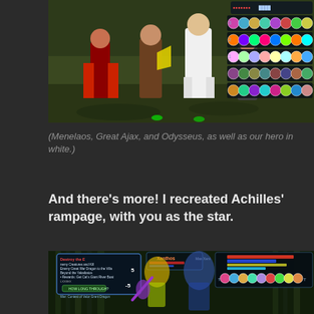[Figure (screenshot): Screenshot from an online role-playing game showing characters including Menelaos, Great Ajax, and Odysseus, with game UI/HUD elements visible on the right side.]
(Menelaos, Great Ajax, and Odysseus, as well as our hero in white.)
And there's more! I recreated Achilles' rampage, with you as the star.
[Figure (screenshot): Screenshot from an online role-playing game showing combat scene with characters fighting, including a character named Xanthos, game dialog box with quest text, and HUD elements visible.]